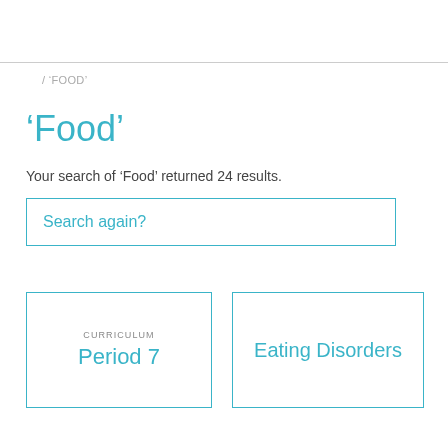/ 'FOOD'
'Food'
Your search of 'Food' returned 24 results.
Search again?
CURRICULUM
Period 7
Eating Disorders